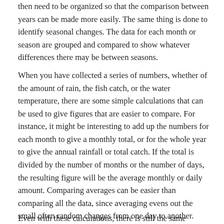then need to be organized so that the comparison between years can be made more easily. The same thing is done to identify seasonal changes. The data for each month or season are grouped and compared to show whatever differences there may be between seasons.
When you have collected a series of numbers, whether of the amount of rain, the fish catch, or the water temperature, there are some simple calculations that can be used to give figures that are easier to compare. For instance, it might be interesting to add up the numbers for each month to give a monthly total, or for the whole year to give the annual rainfall or total catch. If the total is divided by the number of months or the number of days, the resulting figure will be the average monthly or daily amount. Comparing averages can be easier than comparing all the data, since averaging evens out the small often random changes from one day to another. Since it is sometimes the extreme conditions that are the most important for the environment, it can be useful to determine the highest and lowest figures for each month, or for the whole year.
Even with these calculations, there is still the same problem of